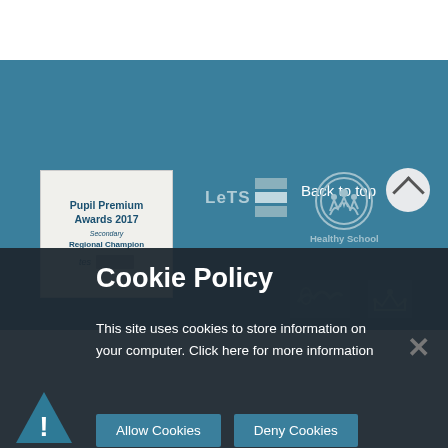[Figure (screenshot): Website footer section with teal background showing 'Back to top' button and logos: Pupil Premium Awards 2017 Secondary Regional Champion (tes), LeTS logo, Healthy School logo, and partial logos below]
[Figure (logo): Pupil Premium Awards 2017 Secondary Regional Champion tes logo box]
[Figure (logo): LeTS logo with stacked bars]
[Figure (logo): Healthy School logo with circle and figures]
Cookie Policy
This site uses cookies to store information on your computer. Click here for more information
Allow Cookies
Deny Cookies